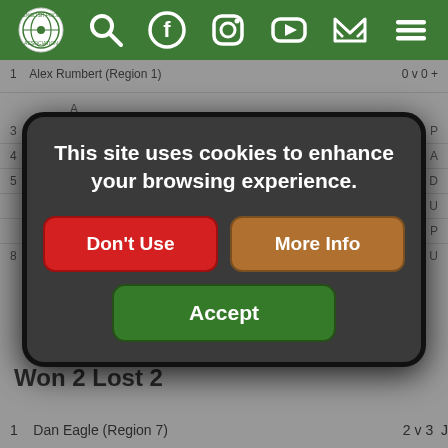English Pool Association website header with logo and navigation icons (search, Facebook, Instagram, YouTube, email, menu)
1  Alex Rumbert (Region 1)   0 v 0 +
3  Jamie Ridsdale (Region 2)   2 v
4  Connor Singleton (Region 5)   0 v 3
5  Sam Clarke (Region 8)   3 v
3 v  U
2 v 3  P
8  Ross  (Region 8)   2 v  U
[Figure (screenshot): Cookie consent modal dialog with dark rounded rectangle background. Text: 'This site uses cookies to enhance your browsing experience.' Three buttons: 'Don't Use' (red), 'More Info' (brown/orange), 'Accept' (green).]
Won 2 Lost 2
1  Dan Eagle (Region 7)   2 v 3  J